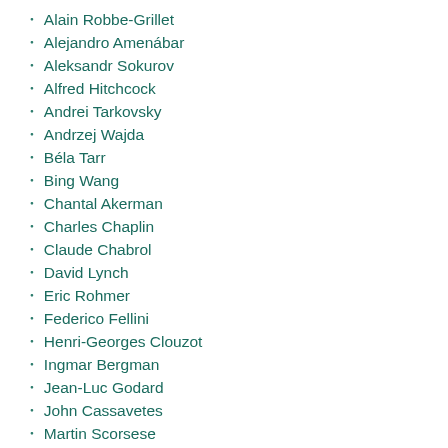Alain Robbe-Grillet
Alejandro Amenábar
Aleksandr Sokurov
Alfred Hitchcock
Andrei Tarkovsky
Andrzej Wajda
Béla Tarr
Bing Wang
Chantal Akerman
Charles Chaplin
Claude Chabrol
David Lynch
Eric Rohmer
Federico Fellini
Henri-Georges Clouzot
Ingmar Bergman
Jean-Luc Godard
John Cassavetes
Martin Scorsese
Michelangelo Antonioni